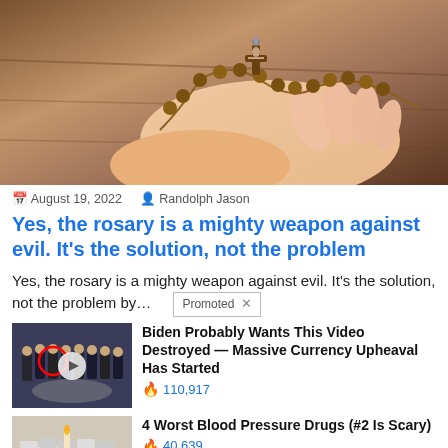[Figure (photo): Close-up of hands holding a wooden rosary with a crucifix, resting on a dark wooden surface.]
August 19, 2022  Randolph Jason
Yes, the rosary is a mighty weapon against evil. It's the solution, not the problem
Yes, the rosary is a mighty weapon against evil. It's the solution, not the problem by...
Promoted X
[Figure (photo): Thumbnail of a video showing a group of men in suits, one circled in red, with a play button overlay.]
Biden Probably Wants This Video Destroyed — Massive Currency Upheaval Has Started
🔥 110,917
[Figure (photo): Thumbnail showing several white pill bottles grouped together.]
4 Worst Blood Pressure Drugs (#2 Is Scary)
🔥 40,639